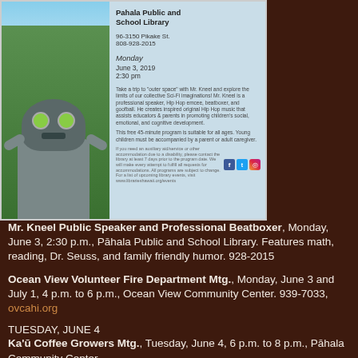[Figure (other): Flyer image for Mr. Kneel event at Pahala Public and School Library showing a person in a frog/alien mask in a green outdoor setting. Flyer text: Pahala Public and School Library, 96-3150 Pikake St., 808-928-2015, Monday June 3, 2019, 2:30 pm. Description of Mr. Kneel program.]
Mr. Kneel Public Speaker and Professional Beatboxer, Monday, June 3, 2:30 p.m., Pāhala Public and School Library. Features math, reading, Dr. Seuss, and family friendly humor. 928-2015
Ocean View Volunteer Fire Department Mtg., Monday, June 3 and July 1, 4 p.m. to 6 p.m., Ocean View Community Center. 939-7033, ovcahi.org
TUESDAY, JUNE 4
Ka'ū Coffee Growers Mtg., Tuesday, June 4, 6 p.m. to 8 p.m., Pāhala Community Center.